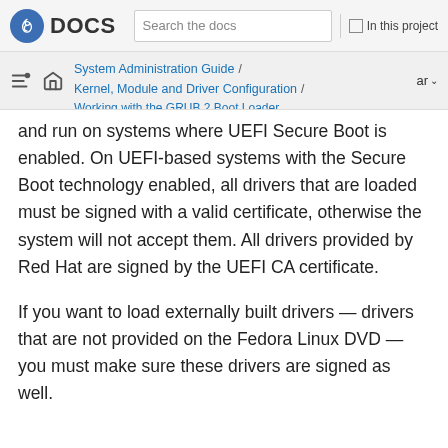Fedora DOCS — Search the docs | In this project
System Administration Guide / Kernel, Module and Driver Configuration / Working with the GRUB 2 Boot Loader — ar
and run on systems where UEFI Secure Boot is enabled. On UEFI-based systems with the Secure Boot technology enabled, all drivers that are loaded must be signed with a valid certificate, otherwise the system will not accept them. All drivers provided by Red Hat are signed by the UEFI CA certificate.
If you want to load externally built drivers — drivers that are not provided on the Fedora Linux DVD — you must make sure these drivers are signed as well.